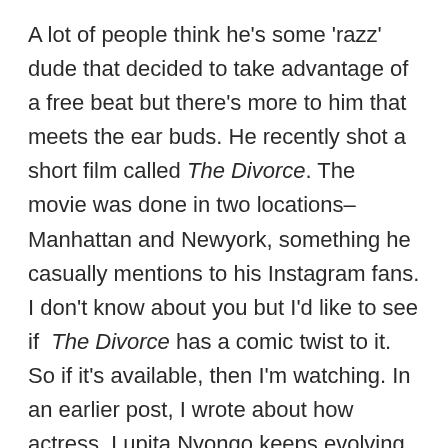A lot of people think he's some 'razz' dude that decided to take advantage of a free beat but there's more to him that meets the ear buds. He recently shot a short film called The Divorce. The movie was done in two locations– Manhattan and Newyork, something he casually mentions to his Instagram fans. I don't know about you but I'd like to see if The Divorce has a comic twist to it. So if it's available, then I'm watching. In an earlier post, I wrote about how actress, Lupita Nyongo keeps evolving her brand. It's mostly about taking every opportunity given to showcase her talents to potential fans, investors and collaborations. This